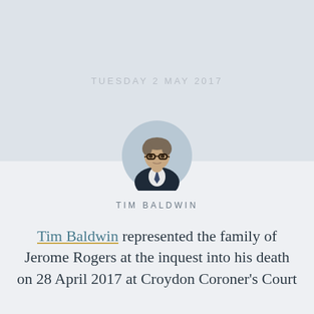TUESDAY 2 MAY 2017
[Figure (photo): Circular headshot portrait of Tim Baldwin, a man wearing glasses and a dark suit with tie, against a light blue/grey background]
TIM BALDWIN
Tim Baldwin represented the family of Jerome Rogers at the inquest into his death on 28 April 2017 at Croydon Coroner's Court